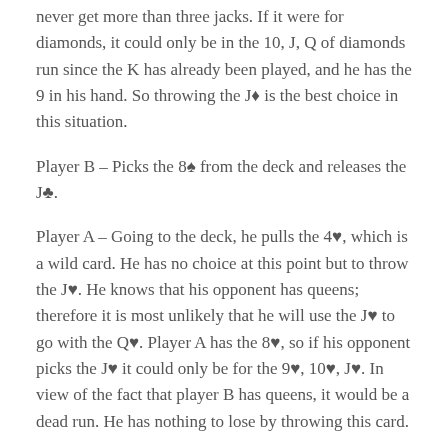never get more than three jacks. If it were for diamonds, it could only be in the 10, J, Q of diamonds run since the K has already been played, and he has the 9 in his hand. So throwing the J♦ is the best choice in this situation.
Player B – Picks the 8♠ from the deck and releases the J♣.
Player A – Going to the deck, he pulls the 4♥, which is a wild card. He has no choice at this point but to throw the J♥. He knows that his opponent has queens; therefore it is most unlikely that he will use the J♥ to go with the Q♥. Player A has the 8♥, so if his opponent picks the J♥ it could only be for the 9♥, 10♥, J♥. In view of the fact that player B has queens, it would be a dead run. He has nothing to lose by throwing this card.
Player B – Obtains from the deck the 9♥. Although he would now be throwing a card which is not from a pair, it is